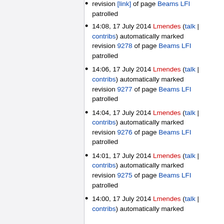revision [link] of page Beams LFI patrolled (partial, top cut off)
14:08, 17 July 2014 Lmendes (talk | contribs) automatically marked revision 9278 of page Beams LFI patrolled
14:06, 17 July 2014 Lmendes (talk | contribs) automatically marked revision 9277 of page Beams LFI patrolled
14:04, 17 July 2014 Lmendes (talk | contribs) automatically marked revision 9276 of page Beams LFI patrolled
14:01, 17 July 2014 Lmendes (talk | contribs) automatically marked revision 9275 of page Beams LFI patrolled
14:00, 17 July 2014 Lmendes (talk | contribs) automatically marked revision [cut off] of page Beams LFI (partial, bottom cut off)